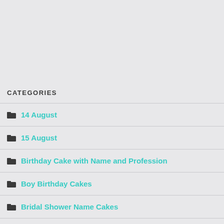CATEGORIES
14 August
15 August
Birthday Cake with Name and Profession
Boy Birthday Cakes
Bridal Shower Name Cakes
Brother Birthday Cakes